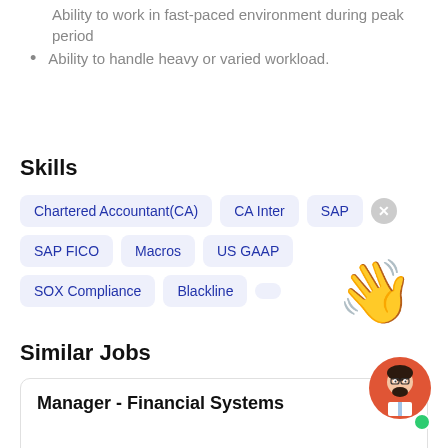Ability to work in fast-paced environment during peak period
Ability to handle heavy or varied workload.
Skills
Chartered Accountant(CA)  CA Inter  SAP  SAP FICO  Macros  US GAAP  SOX Compliance  Blackline
Similar Jobs
Manager - Financial Systems